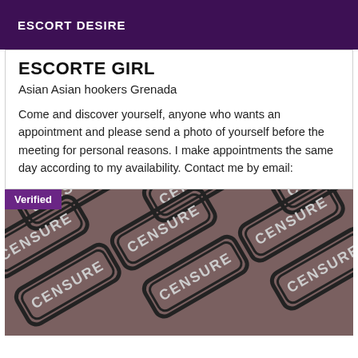ESCORT DESIRE
ESCORTE GIRL
Asian Asian hookers Grenada
Come and discover yourself, anyone who wants an appointment and please send a photo of yourself before the meeting for personal reasons. I make appointments the same day according to my availability. Contact me by email:
[Figure (photo): Censored image with repeating CENSURE stamp watermarks over a brownish background. A 'Verified' badge is shown in the top-left corner.]